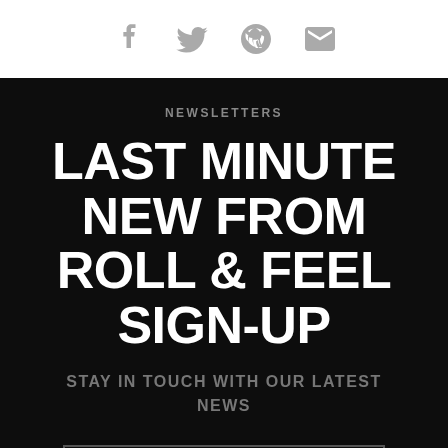[Figure (infographic): Social media icons row: Facebook, Twitter, Pinterest, Email (envelope) — gray icons on white background]
NEWSLETTERS
LAST MINUTE NEW FROM ROLL & FEEL SIGN-UP
STAY IN TOUCH WITH OUR LATEST NEWS
Username o email
SUBSCRIBE